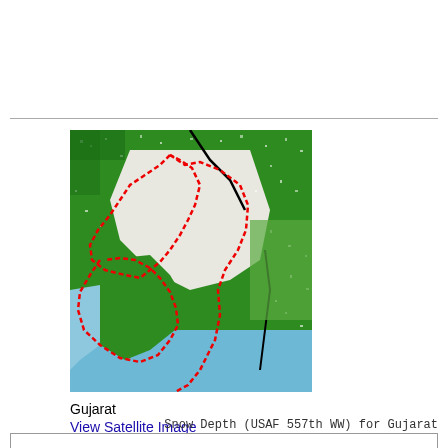[Figure (map): Satellite/color-coded map of Gujarat, India region showing vegetation (green), arid/snow areas (white/grey), water bodies (light blue), and state boundary highlighted in red dashed line. Black lines indicate roads or rivers.]
Gujarat
View Satellite Image
Snow Depth (USAF 557th WW) for Gujarat